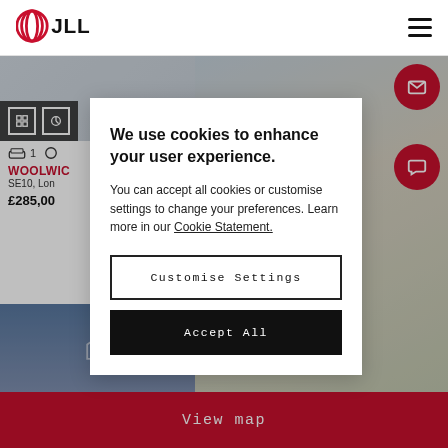[Figure (logo): JLL logo with red concentric oval icon and bold JLL text]
[Figure (screenshot): JLL website background showing property listing page with cookie consent modal overlay]
We use cookies to enhance your user experience.
You can accept all cookies or customise settings to change your preferences. Learn more in our Cookie Statement.
Customise Settings
Accept All
WOOLWIC
SE10, Lon
£285,00
View map